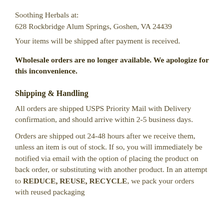Soothing Herbals at:
628 Rockbridge Alum Springs, Goshen, VA 24439
Your items will be shipped after payment is received.
Wholesale orders are no longer available. We apologize for this inconvenience.
Shipping & Handling
All orders are shipped USPS Priority Mail with Delivery confirmation, and should arrive within 2-5 business days.
Orders are shipped out 24-48 hours after we receive them, unless an item is out of stock. If so, you will immediately be notified via email with the option of placing the product on back order, or substituting with another product. In an attempt to REDUCE, REUSE, RECYCLE, we pack your orders with reused packaging